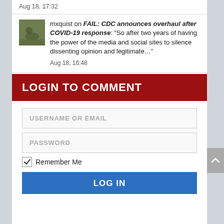Aug 18, 17:32
mxquist on FAIL: CDC announces overhaul after COVID-19 response: “So after two years of having the power of the media and social sites to silence dissenting opinion and legitimate…”
Aug 18, 16:48
LOGIN TO COMMENT
USERNAME OR EMAIL
PASSWORD
Remember Me
LOG IN